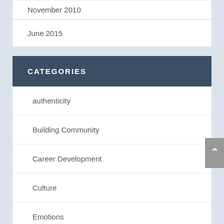November 2010
June 2015
CATEGORIES
authenticity
Building Community
Career Development
Culture
Emotions
Existential Thoughts